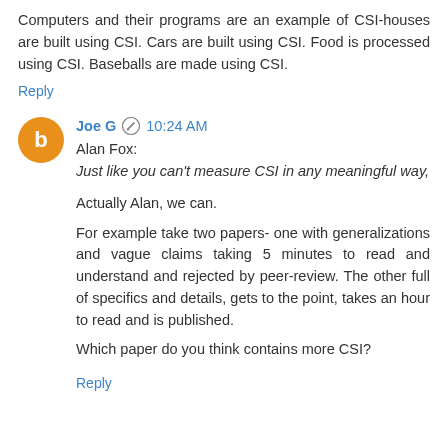Computers and their programs are an example of CSI-houses are built using CSI. Cars are built using CSI. Food is processed using CSI. Baseballs are made using CSI.
Reply
Joe G  10:24 AM
Alan Fox:
Just like you can't measure CSI in any meaningful way,
Actually Alan, we can.
For example take two papers- one with generalizations and vague claims taking 5 minutes to read and understand and rejected by peer-review. The other full of specifics and details, gets to the point, takes an hour to read and is published.
Which paper do you think contains more CSI?
Reply